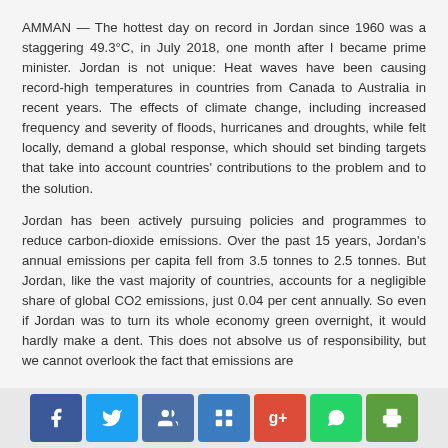AMMAN — The hottest day on record in Jordan since 1960 was a staggering 49.3°C, in July 2018, one month after I became prime minister. Jordan is not unique: Heat waves have been causing record-high temperatures in countries from Canada to Australia in recent years. The effects of climate change, including increased frequency and severity of floods, hurricanes and droughts, while felt locally, demand a global response, which should set binding targets that take into account countries' contributions to the problem and to the solution.
Jordan has been actively pursuing policies and programmes to reduce carbon-dioxide emissions. Over the past 15 years, Jordan's annual emissions per capita fell from 3.5 tonnes to 2.5 tonnes. But Jordan, like the vast majority of countries, accounts for a negligible share of global CO2 emissions, just 0.04 per cent annually. So even if Jordan was to turn its whole economy green overnight, it would hardly make a dent. This does not absolve us of responsibility, but we cannot overlook the fact that emissions are
Social sharing icons: Facebook, Twitter, LinkedIn, Share, Google+, WhatsApp, Print